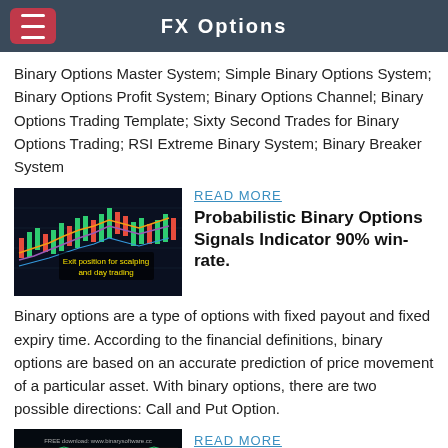FX Options
Binary Options Master System; Simple Binary Options System; Binary Options Profit System; Binary Options Channel; Binary Options Trading Template; Sixty Second Trades for Binary Options Trading; RSI Extreme Binary System; Binary Breaker System
[Figure (screenshot): Trading chart screenshot showing candlestick price chart with colored indicators and overlay text 'Exit position for scalping and day trading']
READ MORE
Probabilistic Binary Options Signals Indicator 90% win-rate.
Binary options are a type of options with fixed payout and fixed expiry time. According to the financial definitions, binary options are based on an accurate prediction of price movement of a particular asset. With binary options, there are two possible directions: Call and Put Option.
[Figure (screenshot): Trading software screenshot with FREE Download text]